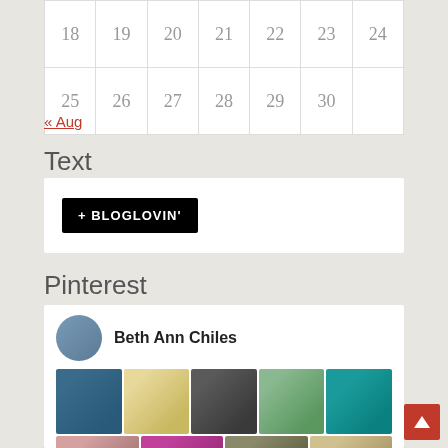| 18 | 19 | 20 | 21 | 22 | 23 | 24 |
| 25 | 26 | 27 | 28 | 29 | 30 |  |
« Aug
Text
[Figure (logo): Bloglovin button: black rectangle with '+ BLOGLOVIN'' text in white]
Pinterest
[Figure (screenshot): Pinterest widget showing Beth Ann Chiles profile with avatar and grid of pin images including crafts, food, and other content]